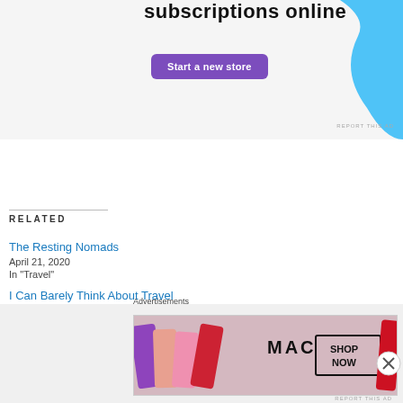[Figure (other): Advertisement banner: 'subscriptions online' text with purple 'Start a new store' button and light blue decorative shape]
RELATED
The Resting Nomads
April 21, 2020
In "Travel"
I Can Barely Think About Travel
July 9, 2020
In "Travel"
Three Choices (for now)
July 22, 2022
[Figure (other): MAC Cosmetics advertisement showing lipsticks and SHOP NOW button]